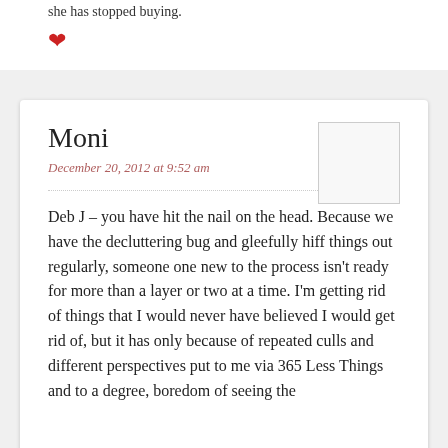she has stopped buying.
[Figure (illustration): Red heart icon (like button)]
Moni
December 20, 2012 at 9:52 am
Deb J – you have hit the nail on the head. Because we have the decluttering bug and gleefully hiff things out regularly, someone one new to the process isn't ready for more than a layer or two at a time. I'm getting rid of things that I would never have believed I would get rid of, but it has only because of repeated culls and different perspectives put to me via 365 Less Things and to a degree, boredom of seeing the